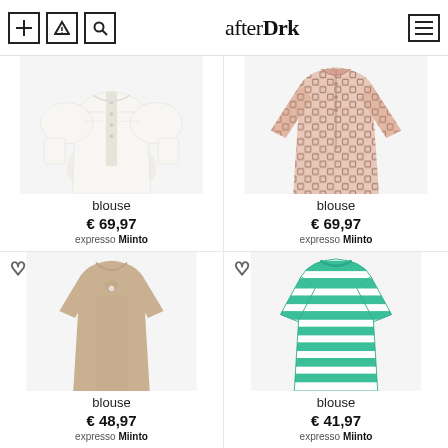afterDrk
[Figure (photo): White lace-trim blouse with puffed sleeves, off-shoulder style]
blouse
€ 69,97
expresso Miinto
[Figure (photo): Pink/beige printed blouse with geometric pattern and long sleeves]
blouse
€ 69,97
expresso Miinto
[Figure (photo): Beige/tan short-sleeve blouse with open back and pearl button detail]
blouse
€ 48,97
expresso Miinto
[Figure (photo): Teal and white striped short-sleeve knit blouse/top]
blouse
€ 41,97
expresso Miinto